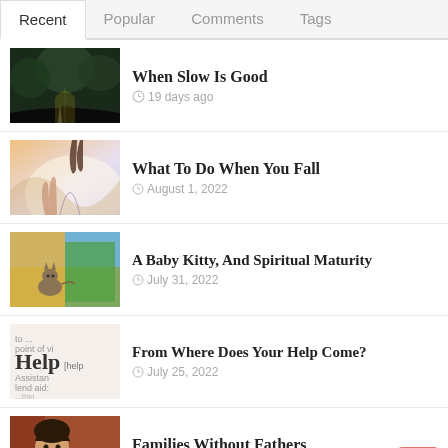Recent | Popular | Comments | Tags
When Slow Is Good — 19 days ago
What To Do When You Fall — August 1, 2022
A Baby Kitty, And Spiritual Maturity — July 31, 2022
From Where Does Your Help Come? — July 25, 2022
Families Without Fathers — July 17, 2022